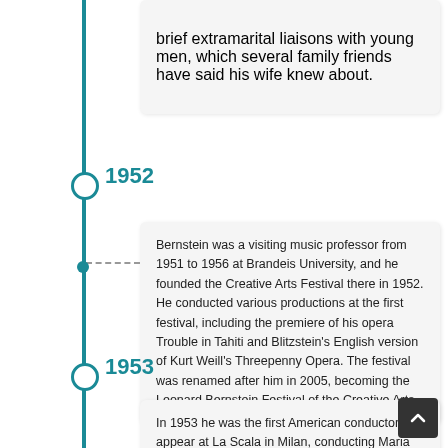brief extramarital liaisons with young men, which several family friends have said his wife knew about.
1952
Bernstein was a visiting music professor from 1951 to 1956 at Brandeis University, and he founded the Creative Arts Festival there in 1952. He conducted various productions at the first festival, including the premiere of his opera Trouble in Tahiti and Blitzstein's English version of Kurt Weill's Threepenny Opera. The festival was renamed after him in 2005, becoming the Leonard Bernstein Festival of the Creative Arts.
1953
In 1953 he was the first American conductor to appear at La Scala in Milan, conducting Maria Callas in Cherubini's Medea directed b